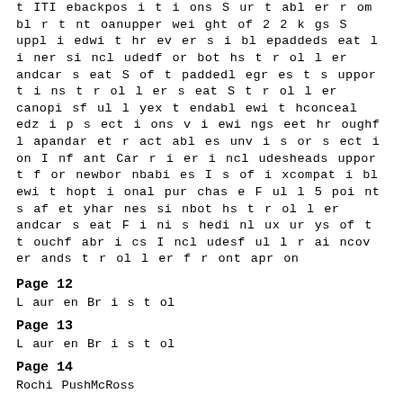t ITI ebackpos i t i ons S ur t abl er r om bl r t nt oanupper wei ght of 2 2 k gs S uppl i edwi t hr ev er s i bl epaddeds eat l i ner si ncl udedf or bot hs t r ol l er andcar s eat S of t paddedl egr es t s uppor t i ns t r ol l er s eat S t r ol l er canopi sf ul l yex t endabl ewi t hconceal edz i p s ect i ons v i ewi ngs eet hr oughf l apandar et r act abl es unv i s or s ect i on I nf ant Car r i er i ncl udesheads uppor t f or newbor nbabi es I s of i xcompat i bl ewi t hopt i onal pur chas e F ul l 5 poi nt s af et yhar nes si nbot hs t r ol l er andcar s eat F i ni s hedi nl ux ur ys of t t ouchf abr i cs I ncl udesf ul l r ai ncov er ands t r ol l er f r ont apr on
Page 12
L aur en Br i s t ol
Page 13
L aur en Br i s t ol
Page 14
Rochi PushMcRoss